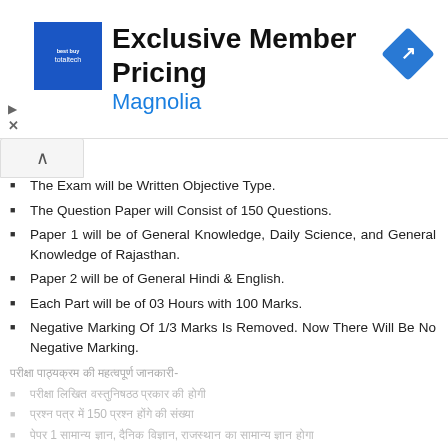[Figure (infographic): Advertisement banner: totaltech logo (blue square), 'Exclusive Member Pricing' title, 'Magnolia' subtitle in blue, navigation/map icon on right, play and close (X) buttons on left]
The Exam will be Written Objective Type.
The Question Paper will Consist of 150 Questions.
Paper 1 will be of General Knowledge, Daily Science, and General Knowledge of Rajasthan.
Paper 2 will be of General Hindi & English.
Each Part will be of 03 Hours with 100 Marks.
Negative Marking Of 1/3 Marks Is Removed. Now There Will Be No Negative Marking.
परीक्षा पाठ्यक्रम की महत्वपूर्ण जानकारी-
परीक्षा लिखित वस्तुनिष्ठ प्रकार की होगी
प्रश्न पत्र में 150 प्रश्न होंगे की संख्या
पेपर 1 सामान्य ज्ञान, दैनिक विज्ञान, राजस्थान का सामान्य ज्ञान
पेपर 2 सामान्य हिंदी और अंग्रेज़ी का होगा